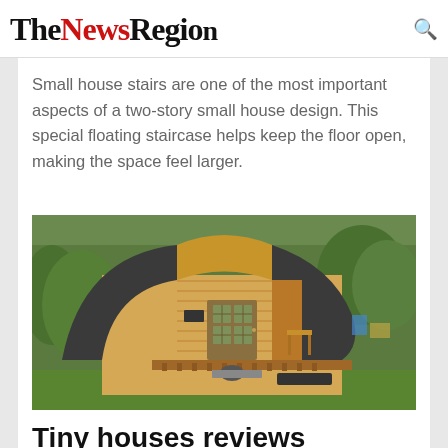TheNewsRegion
Small house stairs are one of the most important aspects of a two-story small house design. This special floating staircase helps keep the floor open, making the space feel larger.
[Figure (photo): Exterior photo of a small wooden cabin/tiny house with a curved A-frame roof, wooden plank siding, a central door with glass panes, a small porch deck, and lush green trees in the background.]
Tiny houses reviews